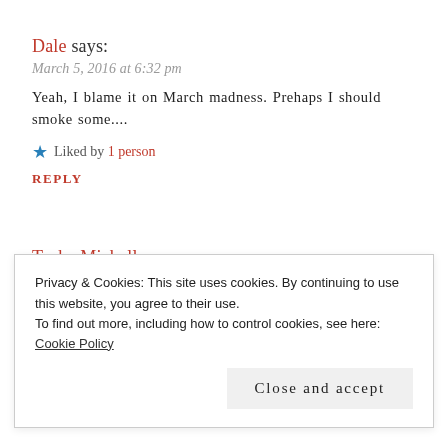Dale says:
March 5, 2016 at 6:32 pm
Yeah, I blame it on March madness. Prehaps I should smoke some....
Liked by 1 person
REPLY
Tosha Michelle says:
March 5, 2016 at 6:35 pm
Uah
Privacy & Cookies: This site uses cookies. By continuing to use this website, you agree to their use. To find out more, including how to control cookies, see here: Cookie Policy
Close and accept